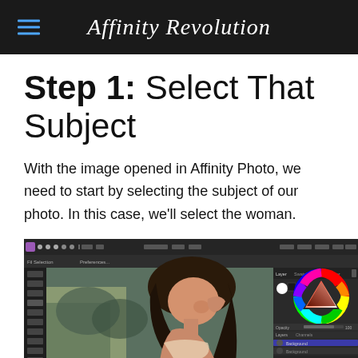Affinity Revolution
Step 1: Select That Subject
With the image opened in Affinity Photo, we need to start by selecting the subject of our photo. In this case, we'll select the woman.
[Figure (screenshot): Screenshot of Affinity Photo software showing a woman being selected, with the color wheel panel visible on the right side.]